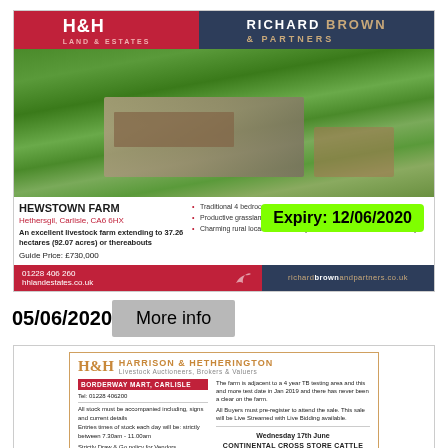[Figure (photo): Property listing advertisement for Hewstown Farm, Hethersgil, Carlisle. Features H&H and Richard Brown & Partners logos, aerial photo of farm, property details and contact information. Green expiry badge overlay showing 12/06/2020.]
05/06/2020
More info
[Figure (photo): H&H Harrison & Hetherington livestock auctioneers property listing advertisement showing Borderway Mart Carlisle details and Wednesday 17th June Continental Cross Stone Castle entries.]